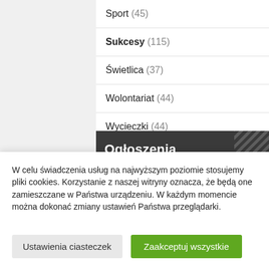Sport (45)
Sukcesy (115)
Świetlica (37)
Wolontariat (44)
Wycieczki (44)
Ogłoszenia
Przetarg, Laboratoria
W celu świadczenia usług na najwyższym poziomie stosujemy pliki cookies. Korzystanie z naszej witryny oznacza, że będą one zamieszczane w Państwa urządzeniu. W każdym momencie można dokonać zmiany ustawień Państwa przeglądarki.
Ustawienia ciasteczek
Zaakceptuj wszystkie